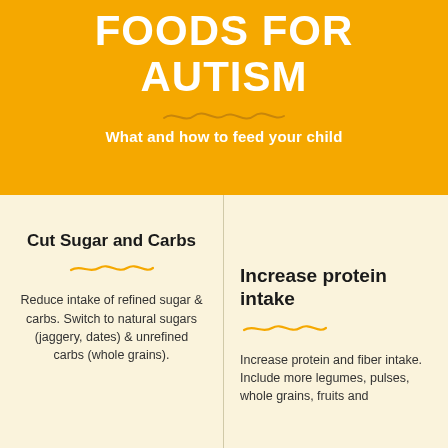FOODS FOR AUTISM
What and how to feed your child
Cut Sugar and Carbs
Reduce intake of refined sugar & carbs. Switch to natural sugars (jaggery, dates) & unrefined carbs (whole grains).
Increase protein intake
Increase protein and fiber intake. Include more legumes, pulses, whole grains, fruits and